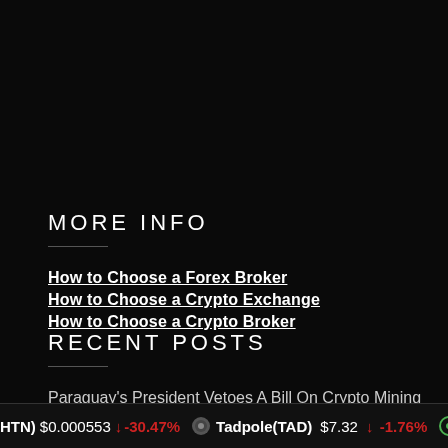MORE INFO
How to Choose a Forex Broker
How to Choose a Crypto Exchange
How to Choose a Crypto Broker
RECENT POSTS
Paraguay's President Vetoes A Bill On Crypto Mining
(HTN) $0.000553 ↓ -30.47% Tadpole(TAD) $7.32 ↓ -1.76% SE...